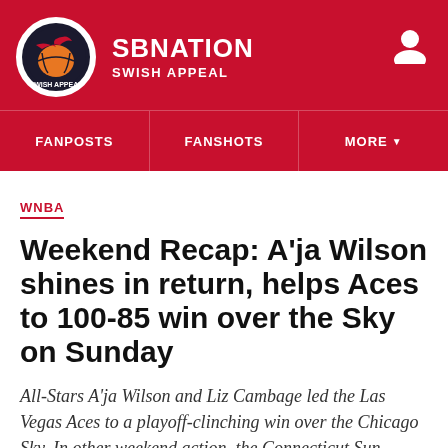SB NATION / SWISH APPEAL
FANPOSTS | FANSHOTS | MORE
WNBA
Weekend Recap: A'ja Wilson shines in return, helps Aces to 100-85 win over the Sky on Sunday
All-Stars A'ja Wilson and Liz Cambage led the Las Vegas Aces to a playoff-clinching win over the Chicago Sky. In other weekend action, the Connecticut Sun clinched a playoff berth and the Washington Mystics set a new three-point